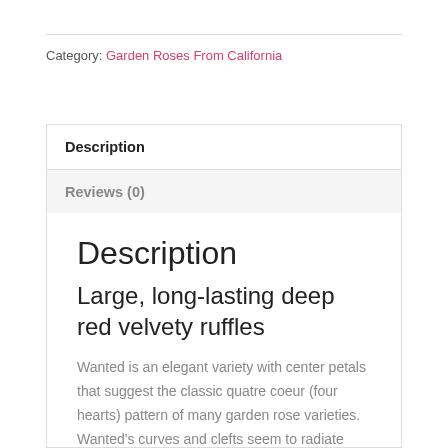Category: Garden Roses From California
Description
Reviews (0)
Description
Large, long-lasting deep red velvety ruffles
Wanted is an elegant variety with center petals that suggest the classic quatre coeur (four hearts) pattern of many garden rose varieties. Wanted's curves and clefts seem to radiate outward from the center like velvet waves. Bright red with darker red shadows